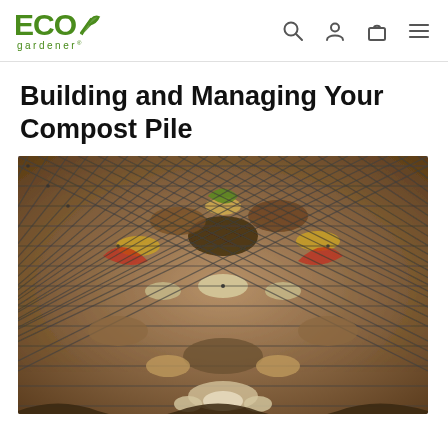ECO gardener
Building and Managing Your Compost Pile
[Figure (photo): Close-up photo of a compost pile filled with organic kitchen and garden waste — peels, shells, leaves, twigs — contained behind a metal wire mesh/chicken-wire fence. The image has a mirrored/kaleidoscopic effect.]